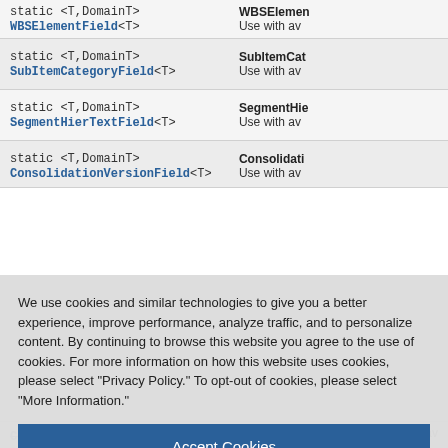| Modifier and Type | Description |
| --- | --- |
| static <T,DomainT>
WBSElementField<T> | WBSElemen...
Use with av... |
| static <T,DomainT>
SubItemCategoryField<T> | SubItemCat...
Use with av... |
| static <T,DomainT>
SegmentHierTextField<T> | SegmentHie...
Use with av... |
| static <T,DomainT>
ConsolidationVersionField<T> | Consolidati...
Use with av... |
| static <T,DomainT>
ConsolidationLedgerTextField<T> | Use with av... |
We use cookies and similar technologies to give you a better experience, improve performance, analyze traffic, and to personalize content. By continuing to browse this website you agree to the use of cookies. For more information on how this website uses cookies, please select "Privacy Policy." To opt-out of cookies, please select "More Information."
Accept Cookies
More Information
Privacy Policy | Powered by: TrustArc